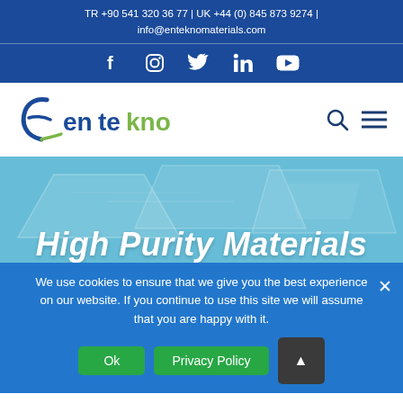TR +90 541 320 36 77 | UK +44 (0) 845 873 9274 | info@enteknomaterials.com
[Figure (logo): Social media icons bar: Facebook, Instagram, Twitter, LinkedIn, YouTube on dark blue background]
[Figure (logo): Entekno Materials logo with stylized E icon in blue/green and search and menu icons]
[Figure (photo): Blue-tinted background photo of laboratory or materials equipment with partial large white italic text: High Purity Materials]
We use cookies to ensure that we give you the best experience on our website. If you continue to use this site we will assume that you are happy with it.
Ok   Privacy Policy